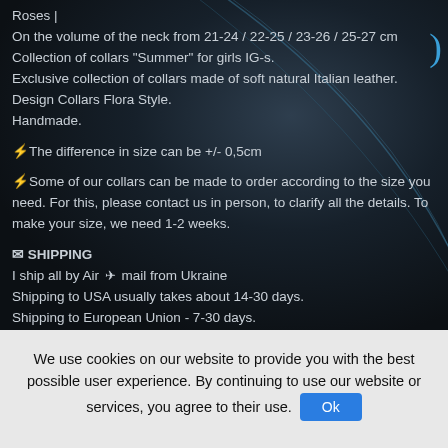Roses |
On the volume of the neck from 21-24 / 22-25 / 23-26 / 25-27 cm
Collection of collars "Summer" for girls IG-s.
Exclusive collection of collars made of soft natural Italian leather.
Design Collars Flora Style.
Handmade.
⚡The difference in size can be +/- 0,5cm
⚡Some of our collars can be made to order according to the size you need. For this, please contact us in person, to clarify all the details. To make your size, we need 1-2 weeks.
✉ SHIPPING
I ship all by Air ✈ mail from Ukraine
Shipping to USA usually takes about 14-30 days.
Shipping to European Union - 7-30 days.
Shipping to Australia - 30-90 days.
We use cookies on our website to provide you with the best possible user experience. By continuing to use our website or services, you agree to their use.